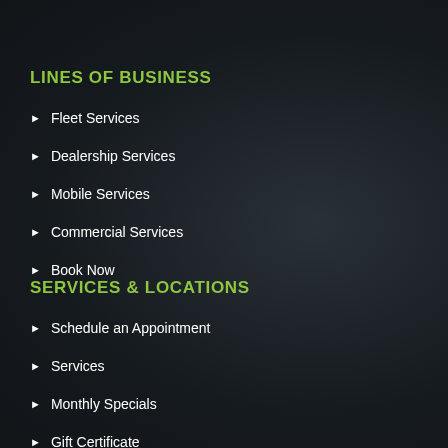LINES OF BUSINESS
Fleet Services
Dealership Services
Mobile Services
Commercial Services
Book Now
SERVICES & LOCATIONS
Schedule an Appointment
Services
Monthly Specials
Gift Certificate